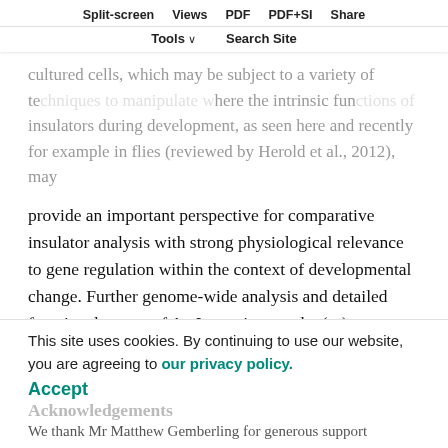Split-screen | Views | PDF | PDF+SI | Share | Tools | Search Site
cultured cells, which may be subject to a variety of techniques to manipulate where the intrinsic functions of insulators during development, as seen here and recently for example in flies (reviewed by Herold et al., 2012), may provide an important perspective for comparative insulator analysis with strong physiological relevance to gene regulation within the context of developmental change. Further genome-wide analysis and detailed functional assays of ArsI-protein complex(es), especially those involving Sin3A, which appears from this report to function together with ISWI in the anti-silencing activity of ArsI, will likely open the window to new functional perspectives of these important chromatin regulators within a GRN.
This site uses cookies. By continuing to use our website, you are agreeing to our privacy policy.
Accept
Acknowledgements
We thank Mr Matthew Gemberling for generous support